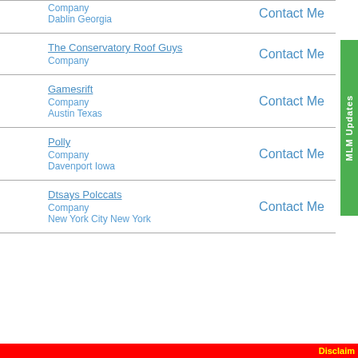Company
Dablin Georgia
Contact Me
The Conservatory Roof Guys
Company
Contact Me
Gamesrift
Company
Austin Texas
Contact Me
Polly
Company
Davenport Iowa
Contact Me
Dtsays Polccats
Company
New York City New York
Contact Me
Disclaim